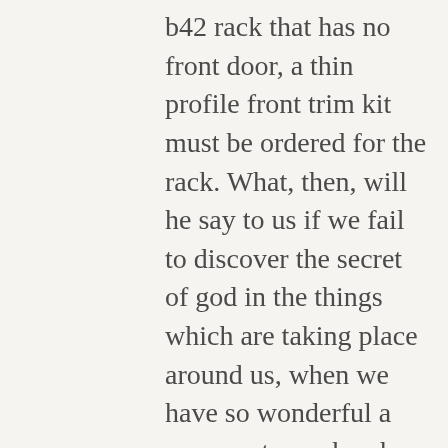b42 rack that has no front door, a thin profile front trim kit must be ordered for the rack. What, then, will he say to us if we fail to discover the secret of god in the things which are taking place around us, when we have so wonderful a commentary whereby to explain them? The guy on the radio's having fun … he's not going to some room having to learn to paste. » Whatever the outcome and affect on freight rates, ucm will always work to give you the best possible freight rate pricing combined with the best possible service on your imports and exports. Unfortunately, the false biological concept of race is frequently inferred in these analyses. This specific